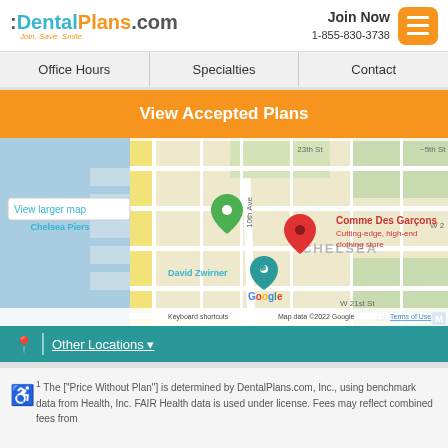DentalPlans.com — Join. Save. Smile. | Join Now 1-855-830-3738
Office Hours | Specialties | Contact
View Accepted Plans
[Figure (map): Google Map showing Chelsea area of New York City with markers for Comme Des Garçons (red pin, 'Cutting-edge, high-end clothing store'), David Zwirner (teal pin), and a green pin near Chelsea Piers. Shows 'View larger map' link, street labels including W 21st St, 10th Ave, and CHELSEA neighborhood label. Map data ©2022 Google, Keyboard shortcuts, Terms of Use.]
Other Locations
¹ The ["Price Without Plan"] is determined by DentalPlans.com, Inc., using benchmark data from Health, Inc. FAIR Health data is used under license. Fees may reflect combined fees from